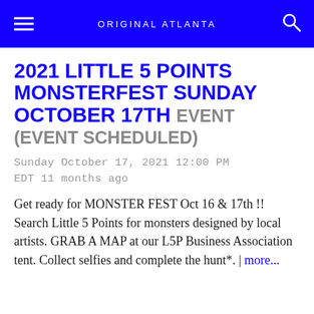ORIGINAL ATLANTA
2021 LITTLE 5 POINTS MONSTERFEST SUNDAY OCTOBER 17TH EVENT (EVENT SCHEDULED)
Sunday October 17, 2021 12:00 PM EDT 11 months ago
Get ready for MONSTER FEST Oct 16 & 17th !! Search Little 5 Points for monsters designed by local artists. GRAB A MAP at our L5P Business Association tent. Collect selfies and complete the hunt*. | more...